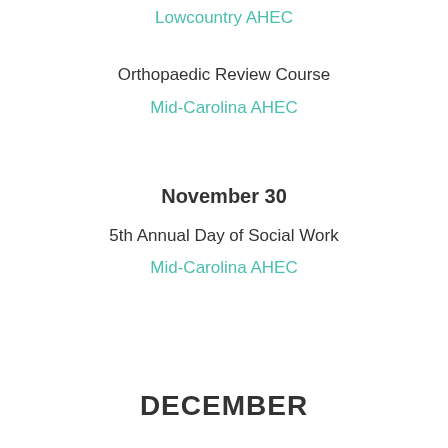Lowcountry AHEC
Orthopaedic Review Course
Mid-Carolina AHEC
November 30
5th Annual Day of Social Work
Mid-Carolina AHEC
DECEMBER